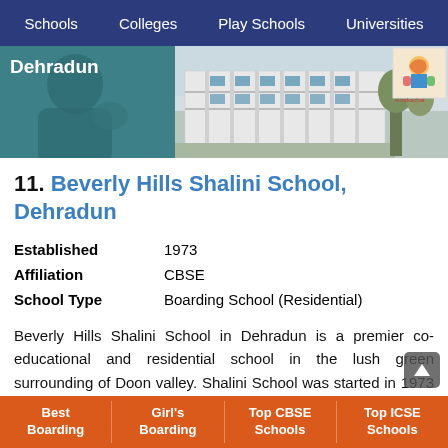Schools | Colleges | Play Schools | Universities
[Figure (photo): Hero banner with teal/green background showing 'Dehradun' text on left side and a school building photo on the right, with a small illustrated image in the corner]
11. Beverly Hills Shalini School, Dehradun
| Established | 1973 |
| Affiliation | CBSE |
| School Type | Boarding School (Residential) |
Beverly Hills Shalini School in Dehradun is a premier co-educational and residential school in the lush green surrounding of Doon valley. Shalini School was started in 1973 by Prof. L.K. Srivastava and his wife, Late Mrs. K.
Best Boarding | Girl's Boarding | Top CBSE Schools | Top ICSE Schools